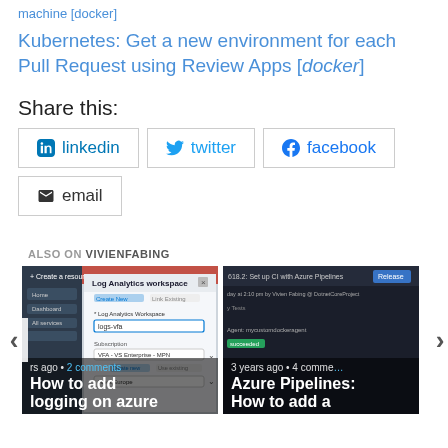machine [docker]
Kubernetes: Get a new environment for each Pull Request using Review Apps [docker]
Share this:
linkedin
twitter
facebook
email
ALSO ON VIVIENFABING
[Figure (screenshot): Screenshot of Azure portal showing Log Analytics workspace creation dialog]
[Figure (screenshot): Dark themed CI pipeline screenshot with Azure Pipelines build information]